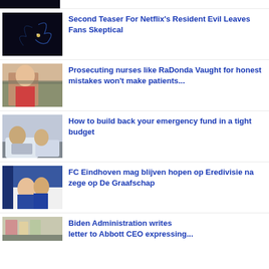[Figure (photo): Dark abstract image, top crop only]
[Figure (photo): Dark image with blue light streaks]
Second Teaser For Netflix's Resident Evil Leaves Fans Skeptical
[Figure (photo): Woman sitting in an office or living room setting]
Prosecuting nurses like RaDonda Vaught for honest mistakes won't make patients...
[Figure (photo): Couple looking at laptop together on couch]
How to build back your emergency fund in a tight budget
[Figure (photo): FC Eindhoven soccer players celebrating]
FC Eindhoven mag blijven hopen op Eredivisie na zege op De Graafschap
[Figure (photo): Store interior, pharmacy or supermarket]
Biden Administration writes letter to Abbott CEO expressing...